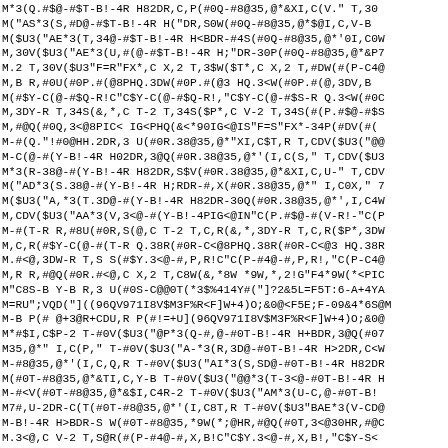M*3(Q.#$@-#$T-B!-4R H82DR,C,P(#0Q-#8@35,@*&XI,C(V." T,30
M("AS*3(S,#D@-#$T-B!-4R H("DR,S0W(#0Q-#8@35,@*$@I,C,V-B
M($U3("AE*3(T,34@-#$T-B!-4R H<BDR-#4S(#0Q-#8@35,@*'0I,C0W
M,30V($U3("AE*3(U,#(@-#$T-B!-4R H;"DR-30P(#0Q-#8@35,@*&P7
M.2 T,30V($U3"F=R"FX*,C X,2 T,3$W($T*,C X,2 T,#DW(#(P-C4@
M,B R,#0U(#0P.#(@8PHQ.3DW(#0P.#(@3 HQ.3<W(#0P.#(@,3DV,B
M(#$Y-C(@-#$Q-R!C"C$Y-C(@-#$Q-R!,"C$Y-C(@-#$S-R Q.3<W(#0C
M,3DY-R T,34S(&,*,C T-2 T,34S($P*,C V-2 T,34S(#(P.#$@-#$S
M,#@Q(#0Q,3<@8PIC< IG<PHQ(&<*90IG<@IS"F=S"FX*-34P(#DV(#(
M-#(Q."!#0@HH.2DR,3 U(#0R.38@35,@*"XI,C$T,R T,CDV($U3("@@
M-C(@-#(Y-B!-4R H02DR,3@Q(#0R.38@35,@*'(I,C(S," T,CDV($U3
M*3(R-38@-#(Y-B!-4R H82DR,S$V(#0R.38@35,@*&XI,C,U-" T,CDV
M("AD*3(S.38@-#(Y-B!-4R H;RDR-#,X(#0R.38@35,@*" I,C0X," 7
M($U3("A,*3(T.3D@-#(Y-B!-4R H82DR-30Q(#0R.38@35,@*',I,C4W
M,CDV($U3("AA*3(V,3<@-#(Y-B!-4PIG<@IN"C(P.#$@-#(V-R!-"C(P
M-#(T-R R,#8U(#0R,S(@,C T-2 T,C,R(&,*,3DY-R T,C,R($P*,3DW
M,C,R(#$Y-C(@-#(T-R Q.38R(#0R-C<@8PHQ.38R(#0R-C<@3 HQ.38R
M.#<@,3DW-R T,S S(#$Y.3<@-#,P,R!C"C(P-#4@-#,P,R!,"C(P-C4@
M,R R,#@Q(#0R.#<@,C X,2 T,C8W(&,*8W *9W,*,2!G"F4*9W(*<PIC
M"C8S-B Y-B R,3 U(#0S-C@@0T(*3$%414Y#("]?2&5L=F5T:6-A+4YA
M=RU";VQD("]((96QV971I8V$M3F%R<F]W+4)O;&0@<F5E;F-09&4*6S@M
M-B P(# @+3@R+CDU,R P(#!=+U](96QV971I8V$M3F%R<F]W+4)O;&0@
M*#$I,C$P-2 T-#0V($U3("@P*3(Q-#,@-#0T-B!-4R H+BDR,3@Q(#07
M35,@*" I,C(P," T-#0V($U3("A-*3(R,3D@-#0T-B!-4R H>2DR,C<W
M-#8@35,@*'(I,C,Q,R T-#0V($U3("AI*3(S,SD@-#0T-B!-4R H82DR
M(#0T-#8@35,@*&TI,C,Y-B T-#0V($U3("@@*3(T-3<@-#0T-B!-4R H
M-#<V(#0T-#8@35,@*&$I,C4R-2 T-#0V($U3("AM*3(U-C,@-#0T-B!
M7#,U-2DR-C(T(#0T-#8@35,@*'(I,C8T,R T-#0V($U3"BAE*3(V-CD@
M-B!-4R H>BDR-S W(#0T-#8@35,*9W(*;@HR,#@Q(#0T,3<@30HR,#@C
M.3<@,C V-2 T,S@R(#(P-#4@-#,X,B!C"C$Y.3<@-#,X,B!,"C$Y-S<